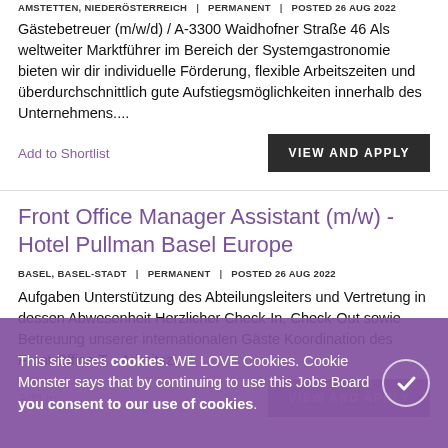AMSTETTEN, NIEDERÖSTERREICH | PERMANENT | POSTED 26 AUG 2022
Gästebetreuer (m/w/d) / A-3300 Waidhofner Straße 46 Als weltweiter Marktführer im Bereich der Systemgastronomie bieten wir dir individuelle Förderung, flexible Arbeitszeiten und überdurchschnittlich gute Aufstiegsmöglichkeiten innerhalb des Unternehmens....
Add to Shortlist
VIEW AND APPLY
Front Office Manager Assistant (m/w) - Hotel Pullman Basel Europe
BASEL, BASEL-STADT | PERMANENT | POSTED 26 AUG 2022
Aufgaben Unterstützung des Abteilungsleiters und Vertretung in dessen Abwesenheit Herzlicher Check-In, Check-Out sowie Betreuung unserer internationalen Gäste Koordination des Front Office-T... Arbeitsz...
Add to Shortlist
VIEW AND APPLY
This site uses cookies. WE LOVE Cookies. Cookie Monster says that by continuing to use this Jobs Board you consent to our use of cookies.